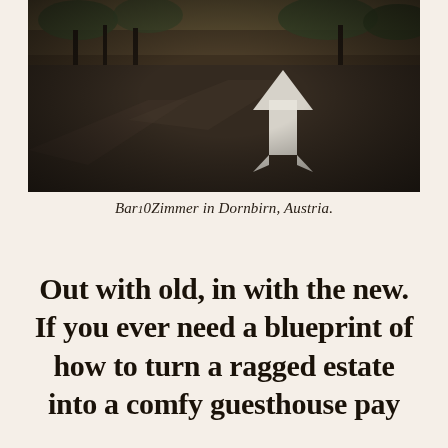[Figure (photo): Dark asphalt road intersection with a white painted arrow pointing upward/forward, trees and greenery visible in the background, moody warm-toned photography.]
Bar10Zimmer in Dornbirn, Austria.
Out with old, in with the new. If you ever need a blueprint of how to turn a ragged estate into a comfy guesthouse pay